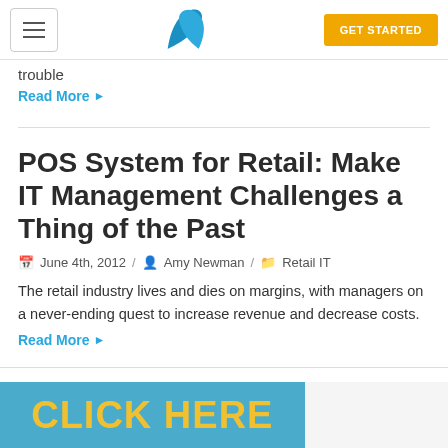GET STARTED
trouble
Read More ▶
POS System for Retail: Make IT Management Challenges a Thing of the Past
June 4th, 2012  /  Amy Newman  /  Retail IT
The retail industry lives and dies on margins, with managers on a never-ending quest to increase revenue and decrease costs.
Read More ▶
[Figure (infographic): Blue banner with 'CLICK HERE' text in bold yellow letters]